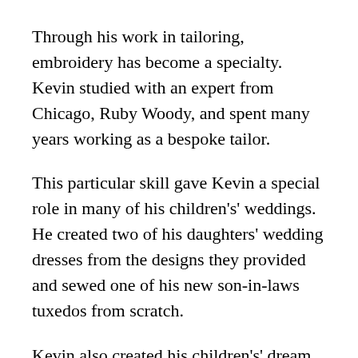Through his work in tailoring, embroidery has become a specialty. Kevin studied with an expert from Chicago, Ruby Woody, and spent many years working as a bespoke tailor.
This particular skill gave Kevin a special role in many of his children's' weddings. He created two of his daughters' wedding dresses from the designs they provided and sewed one of his new son-in-laws tuxedos from scratch.
Kevin also created his children's' dream Halloween costumes. “My favorite outfit by far was my high school senior semi-formal